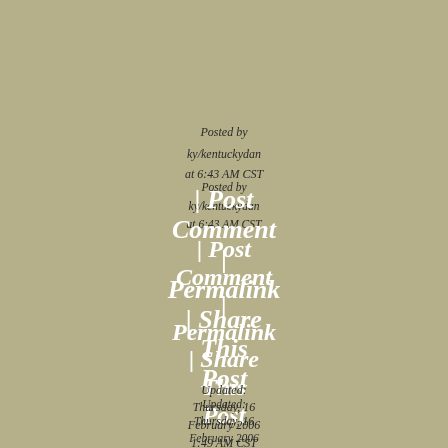Posted by
ky/kentuckydan
at 6:43 AM CST
| Post Comment | Permalink | Share This Post
Updated:
Thursday, 16 February 2006
1:49 AM CST
Monday,